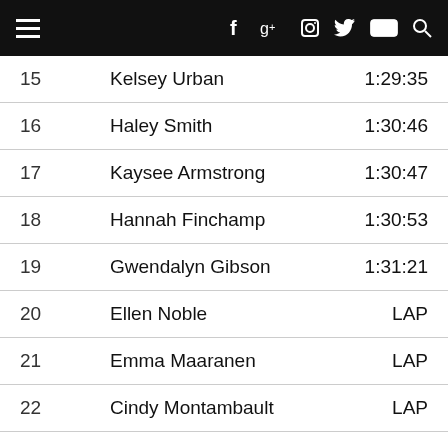Navigation bar with menu, Facebook, Google+, Instagram, Twitter, YouTube, Search icons
| Place | Name | Time |
| --- | --- | --- |
| 15 | Kelsey Urban | 1:29:35 |
| 16 | Haley Smith | 1:30:46 |
| 17 | Kaysee Armstrong | 1:30:47 |
| 18 | Hannah Finchamp | 1:30:53 |
| 19 | Gwendalyn Gibson | 1:31:21 |
| 20 | Ellen Noble | LAP |
| 21 | Emma Maaranen | LAP |
| 22 | Cindy Montambault | LAP |
| 23 | Jennifer Malik | LAP |
| 24 | Anna Megale | LAP |